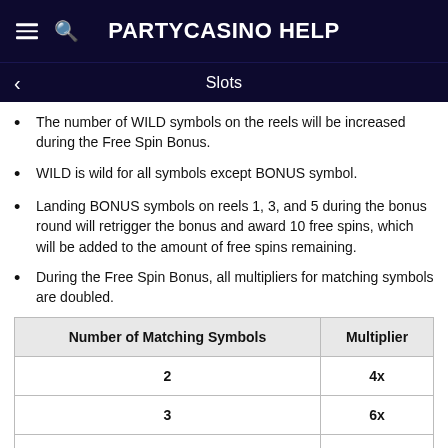PARTYCASINO Help
Slots
The number of WILD symbols on the reels will be increased during the Free Spin Bonus.
WILD is wild for all symbols except BONUS symbol.
Landing BONUS symbols on reels 1, 3, and 5 during the bonus round will retrigger the bonus and award 10 free spins, which will be added to the amount of free spins remaining.
During the Free Spin Bonus, all multipliers for matching symbols are doubled.
| Number of Matching Symbols | Multiplier |
| --- | --- |
| 2 | 4x |
| 3 | 6x |
| 4 | 10x |
| 5 | 20x |